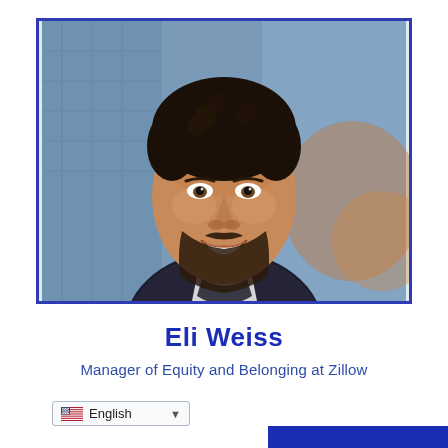[Figure (photo): Professional headshot of Eli Weiss, a man with curly dark hair and a beard, smiling, wearing a dark floral patterned shirt, with a blurred city building background. Photo is bordered with a blue rectangular frame.]
Eli Weiss
Manager of Equity and Belonging at Zillow
English